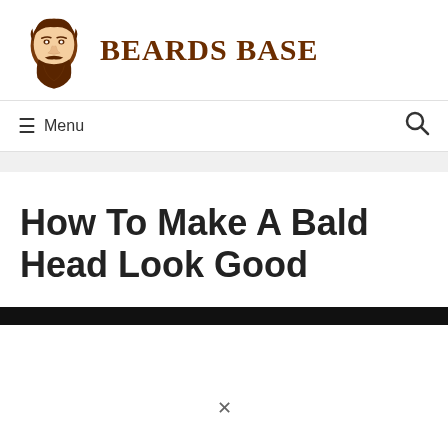[Figure (logo): Beards Base logo: illustration of a man's face with beard and the text BEARDS BASE in dark brown bold serif font]
≡ Menu
How To Make A Bald Head Look Good